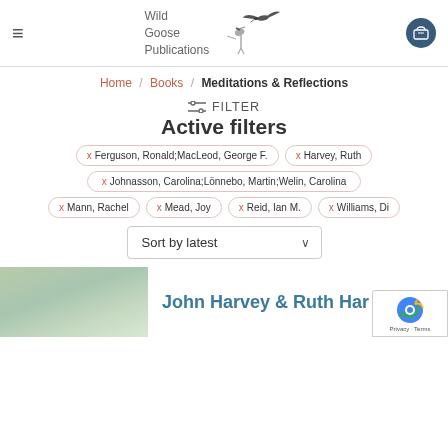[Figure (logo): Wild Goose Publications logo with flying goose bird and text]
Home / Books / Meditations & Reflections
FILTER
Active filters
x Ferguson, Ronald;MacLeod, George F.
x Harvey, Ruth
x Johnasson, Carolina;Lönnebo, Martin;Welin, Carolina
x Mann, Rachel
x Mead, Joy
x Reid, Ian M.
x Williams, Di
Sort by latest
John Harvey & Ruth Har...